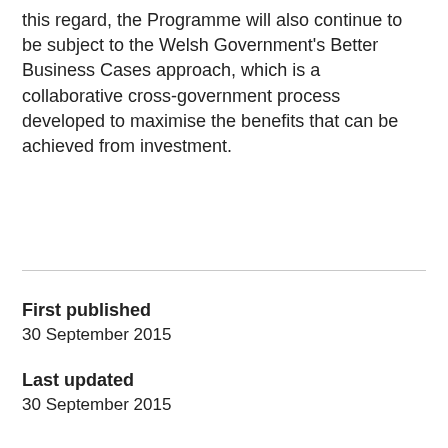this regard, the Programme will also continue to be subject to the Welsh Government's Better Business Cases approach, which is a collaborative cross-government process developed to maximise the benefits that can be achieved from investment.
First published
30 September 2015
Last updated
30 September 2015